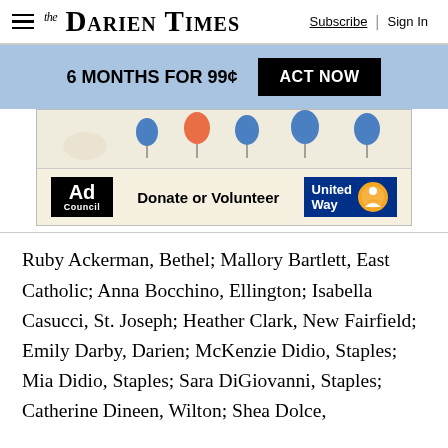The Darien Times | Subscribe | Sign In
[Figure (infographic): Blue promotional banner: '6 MONTHS FOR 99¢' with black 'ACT NOW' button]
[Figure (infographic): Ad Council and United Way advertisement banner: 'Donate or Volunteer' with decorative balloons, Ad Council logo, and United Way logo]
Ruby Ackerman, Bethel; Mallory Bartlett, East Catholic; Anna Bocchino, Ellington; Isabella Casucci, St. Joseph; Heather Clark, New Fairfield; Emily Darby, Darien; McKenzie Didio, Staples; Mia Didio, Staples; Sara DiGiovanni, Staples; Catherine Dineen, Wilton; Shea Dolce,